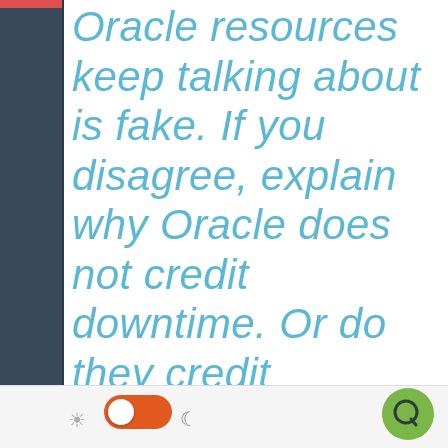Oracle resources keep talking about is fake. If you disagree, explain why Oracle does not credit downtime. Or do they credit downtime? If so, please explain.
[Figure (screenshot): UI bottom bar with a sun icon, orange toggle switch (on), moon icon, and a green Quora button]